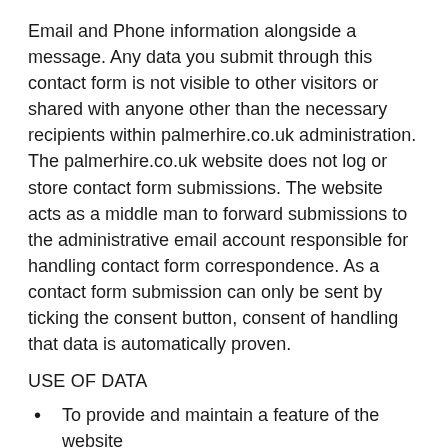Email and Phone information alongside a message. Any data you submit through this contact form is not visible to other visitors or shared with anyone other than the necessary recipients within palmerhire.co.uk administration. The palmerhire.co.uk website does not log or store contact form submissions. The website acts as a middle man to forward submissions to the administrative email account responsible for handling contact form correspondence. As a contact form submission can only be sent by ticking the consent button, consent of handling that data is automatically proven.
USE OF DATA
To provide and maintain a feature of the website
To notify you about a change to the website or policies that may directly affect you
To allow you to participate in interactive features of the website if you have selected to do so